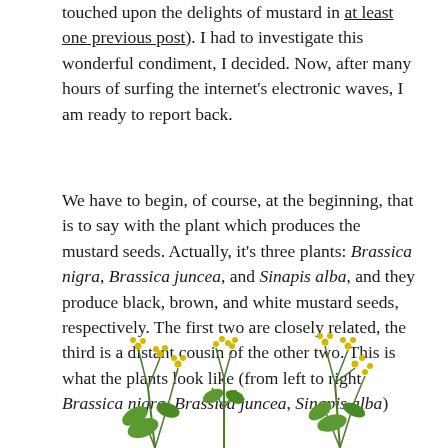touched upon the delights of mustard in at least one previous post). I had to investigate this wonderful condiment, I decided. Now, after many hours of surfing the internet's electronic waves, I am ready to report back.
We have to begin, of course, at the beginning, that is to say with the plant which produces the mustard seeds. Actually, it's three plants: Brassica nigra, Brassica juncea, and Sinapis alba, and they produce black, brown, and white mustard seeds, respectively. The first two are closely related, the third is a distant cousin of the other two. This is what the plants look like (from left to right Brassica nigra, Brassica juncea, Sinapis alba)
[Figure (illustration): Three mustard plant illustrations shown at the bottom of the page: Brassica nigra (left), Brassica juncea (center), and Sinapis alba (right), each showing yellow flowering plants with green leaves.]